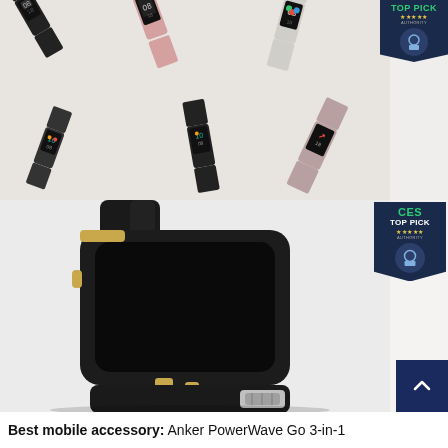[Figure (photo): Multiple fitness tracker / smart band watches in various colors (black, pink, white) displayed scattered on a white background, showing different watch faces. A 'TOP PICK' badge from Android Authority is visible in the top-right corner.]
[Figure (photo): Close-up of a black smartwatch (Anker PowerWave Go 3-in-1) with gold accents on a white background. A 'CES TOP PICK' badge from Android Authority is visible in the top-right corner. A dark blue scroll-to-top button with an upward arrow is in the bottom-right.]
Best mobile accessory: Anker PowerWave Go 3-in-1